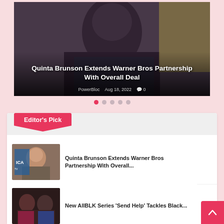[Figure (photo): Hero image of Quinta Brunson with dark background, overlaid with article title and metadata]
Quinta Brunson Extends Warner Bros Partnership With Overall Deal
PowerBloc  Aug 18, 2022  💬 0
[Figure (other): Carousel pagination dots — 5 dots, first one active (pink), rest grey]
Editor's Pick
[Figure (photo): Thumbnail of Quinta Brunson at ICA TV event]
Quinta Brunson Extends Warner Bros Partnership With Overall...
[Figure (photo): Thumbnail of two men in colorful attire]
New AllBLK Series 'Send Help' Tackles Black...